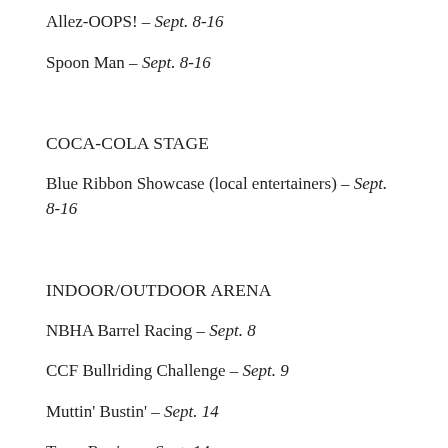Allez-OOPS! – Sept. 8-16
Spoon Man – Sept. 8-16
COCA-COLA STAGE
Blue Ribbon Showcase (local entertainers) – Sept. 8-16
INDOOR/OUTDOOR ARENA
NBHA Barrel Racing – Sept. 8
CCF Bullriding Challenge – Sept. 9
Muttin' Bustin' – Sept. 14
Team Roping – Sept. 14
Cowboy Mounted Shooting – Sept. 14
Ranch Rodeo – Sept. 15